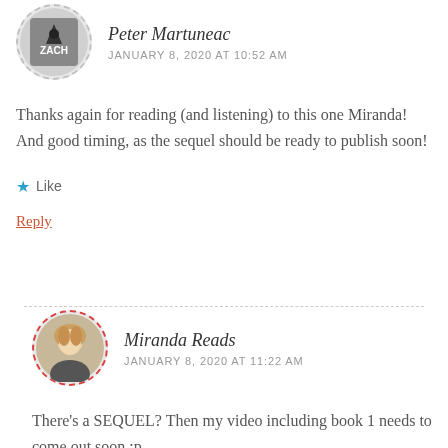[Figure (photo): Circular avatar of Peter Martuneac with dashed grey border, showing a book cover or illustration with a figure and text 'ZACH']
Peter Martuneac
JANUARY 8, 2020 AT 10:52 AM
Thanks again for reading (and listening) to this one Miranda! And good timing, as the sequel should be ready to publish soon!
Like
Reply
[Figure (photo): Circular avatar of Miranda Reads with dashed red border, showing a woman with blonde hair]
Miranda Reads
JANUARY 8, 2020 AT 11:22 AM
There's a SEQUEL? Then my video including book 1 needs to come out soon :p